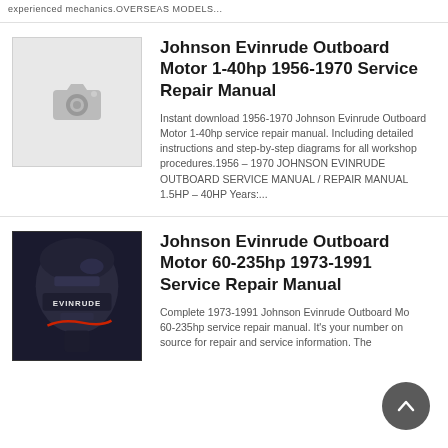experienced mechanics. OVERSEAS MODELS...
[Figure (photo): Placeholder camera icon thumbnail for Johnson Evinrude 1-40hp manual]
Johnson Evinrude Outboard Motor 1-40hp 1956-1970 Service Repair Manual
Instant download 1956-1970 Johnson Evinrude Outboard Motor 1-40hp service repair manual. Including detailed instructions and step-by-step diagrams for all workshop procedures.1956 – 1970 JOHNSON EVINRUDE OUTBOARD SERVICE MANUAL / REPAIR MANUAL 1.5HP – 40HP Years:...
[Figure (photo): Photo of a Johnson Evinrude outboard motor engine, dark colored, showing motor components]
Johnson Evinrude Outboard Motor 60-235hp 1973-1991 Service Repair Manual
Complete 1973-1991 Johnson Evinrude Outboard Motor 60-235hp service repair manual. It's your number one source for repair and service information. They are...